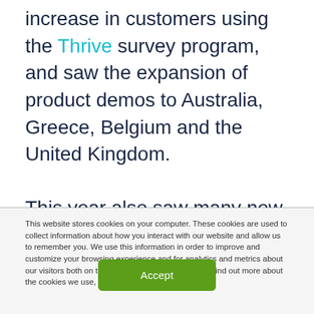increase in customers using the Thrive survey program, and saw the expansion of product demos to Australia, Greece, Belgium and the United Kingdom.

This year also saw many new product updates and launches, including the release
This website stores cookies on your computer. These cookies are used to collect information about how you interact with our website and allow us to remember you. We use this information in order to improve and customize your browsing experience and for analytics and metrics about our visitors both on this website and other media. To find out more about the cookies we use, see our Privacy Policy.
Accept